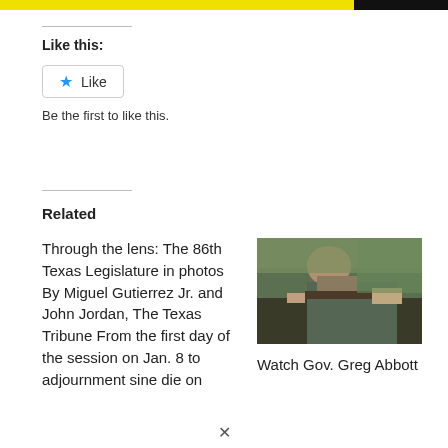Like this:
Be the first to like this.
Related
Through the lens: The 86th Texas Legislature in photos By Miguel Gutierrez Jr. and John Jordan, The Texas Tribune From the first day of the session on Jan. 8 to adjournment sine die on
[Figure (photo): Photo of a man aiming a rifle or long gun, wearing a cap, outdoors with green foliage in background]
Watch Gov. Greg Abbott